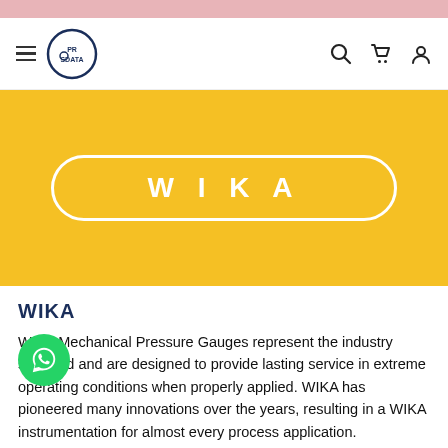[Figure (screenshot): Pink top bar decorative element]
[Figure (logo): PROSDATA logo with circle icon, hamburger menu on left, search/cart/user icons on right]
[Figure (other): Yellow/gold banner with WIKA text in white pill/rounded-rectangle button]
WIKA
WIKA Mechanical Pressure Gauges represent the industry standard and are designed to provide lasting service in extreme operating conditions when properly applied. WIKA has pioneered many innovations over the years, resulting in a WIKA instrumentation for almost every process application.